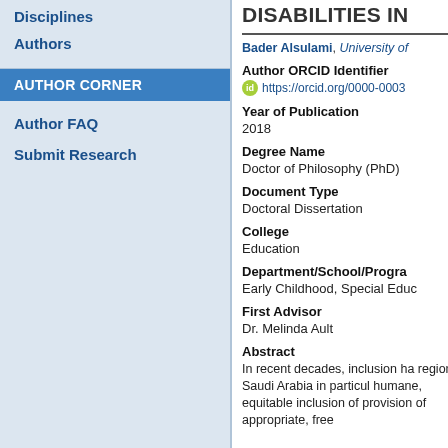Disciplines
Authors
AUTHOR CORNER
Author FAQ
Submit Research
…DISABILITIES IN…
Bader Alsulami, University of…
Author ORCID Identifier
https://orcid.org/0000-0003-…
Year of Publication
2018
Degree Name
Doctor of Philosophy (PhD)
Document Type
Doctoral Dissertation
College
Education
Department/School/Progra…
Early Childhood, Special Educ…
First Advisor
Dr. Melinda Ault
Abstract
In recent decades, inclusion ha… region, Saudi Arabia in particul… humane, equitable inclusion of… provision of appropriate, free…